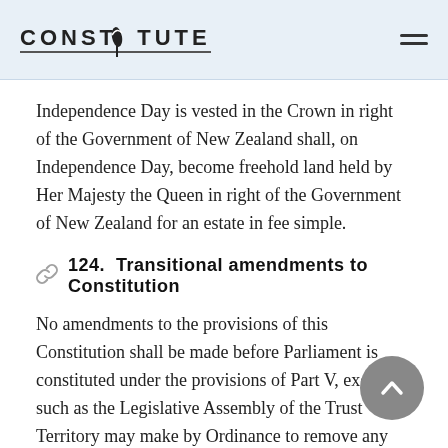CONSTITUTE
Independence Day is vested in the Crown in right of the Government of New Zealand shall, on Independence Day, become freehold land held by Her Majesty the Queen in right of the Government of New Zealand for an estate in fee simple.
124. Transitional amendments to Constitution
No amendments to the provisions of this Constitution shall be made before Parliament is constituted under the provisions of Part V, except such as the Legislative Assembly of the Trust Territory may make by Ordinance to remove any difficulties in the transition from the constitutional arrangements in force immediately before Independence Day to those provided for in this Constitution; and any Ordinance made under the